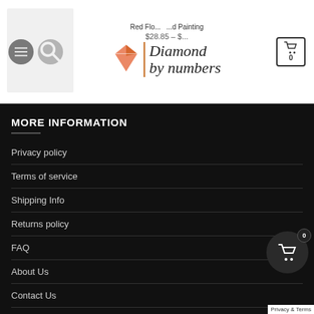Red Flower Diamond Painting $28.85 - Diamond by numbers
MORE INFORMATION
Privacy policy
Terms of service
Shipping Info
Returns policy
FAQ
About Us
Contact Us